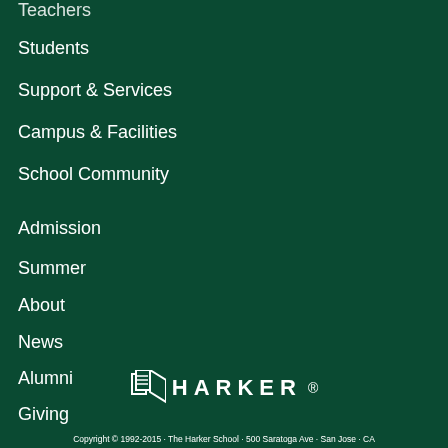Teachers
Students
Support & Services
Campus & Facilities
School Community
Admission
Summer
About
News
Alumni
Giving
[Figure (logo): Harker School logo with stylized H graphic and HARKER text]
Copyright © 1992-2015 · The Harker School · 500 Saratoga Ave · San Jose · CA